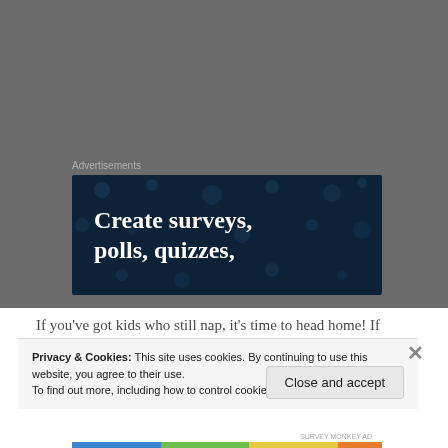Advertisements
[Figure (screenshot): Dark navy blue advertisement banner with white bold text reading 'Create surveys, polls, quizzes,' with decorative dot pattern background]
If you’ve got kids who still nap, it’s time to head home!  If you’re out of the nap zone, take the short trip to Hanover, NH – home to Dartmouth College.  Lots of parents wish their kids got in there (until they see the
Privacy & Cookies: This site uses cookies. By continuing to use this website, you agree to their use.
To find out more, including how to control cookies, see here: Cookie Policy
Close and accept